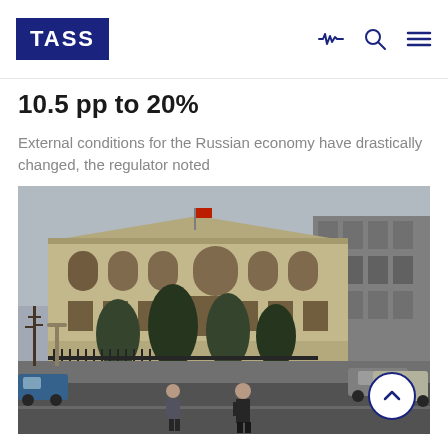TASS
10.5 pp to 20%
External conditions for the Russian economy have drastically changed, the regulator noted
[Figure (photo): Exterior of the Bank of Russia (Central Bank) building with two pedestrians crossing the street in the foreground, large classical yellow building with arched windows, trees, and parked cars visible.]